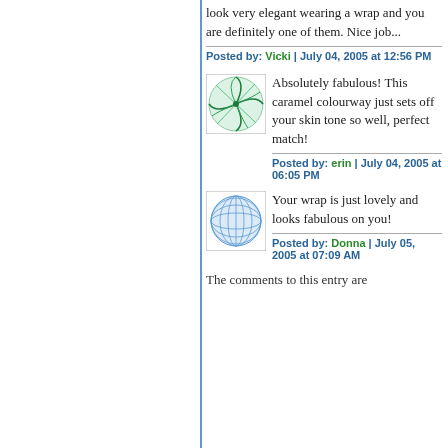look very elegant wearing a wrap and you are definitely one of them. Nice job...
Posted by: Vicki | July 04, 2005 at 12:56 PM
[Figure (illustration): Green spirograph/pinwheel avatar icon]
Absolutely fabulous! This caramel colourway just sets off your skin tone so well, perfect match!
Posted by: erin | July 04, 2005 at 06:05 PM
[Figure (illustration): Blue spherical grid avatar icon]
Your wrap is just lovely and looks fabulous on you!
Posted by: Donna | July 05, 2005 at 07:09 AM
The comments to this entry are